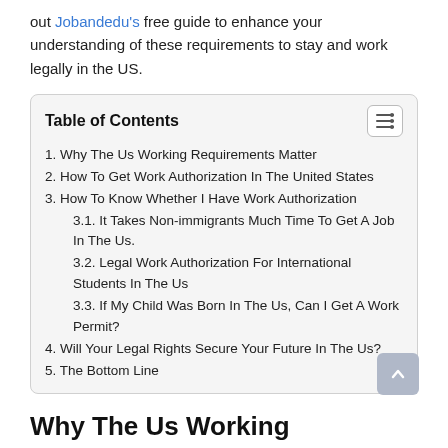out Jobandedu's free guide to enhance your understanding of these requirements to stay and work legally in the US.
| 1. Why The Us Working Requirements Matter |
| 2. How To Get Work Authorization In The United States |
| 3. How To Know Whether I Have Work Authorization |
| 3.1. It Takes Non-immigrants Much Time To Get A Job In The Us. |
| 3.2. Legal Work Authorization For International Students In The Us |
| 3.3. If My Child Was Born In The Us, Can I Get A Work Permit? |
| 4. Will Your Legal Rights Secure Your Future In The Us? |
| 5. The Bottom Line |
Why The Us Working Requirements Matter